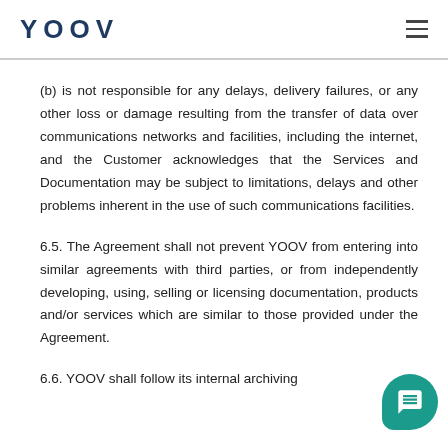YOOV
(b) is not responsible for any delays, delivery failures, or any other loss or damage resulting from the transfer of data over communications networks and facilities, including the internet, and the Customer acknowledges that the Services and Documentation may be subject to limitations, delays and other problems inherent in the use of such communications facilities.
6.5. The Agreement shall not prevent YOOV from entering into similar agreements with third parties, or from independently developing, using, selling or licensing documentation, products and/or services which are similar to those provided under the Agreement.
6.6. YOOV shall follow its internal archiving